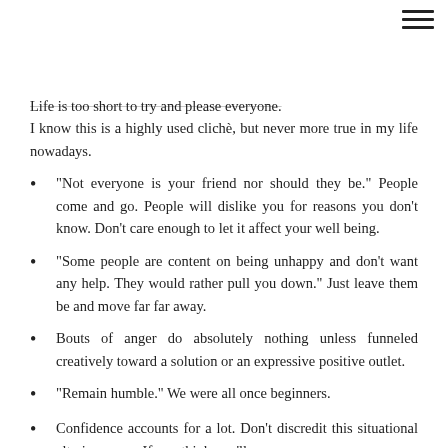Life is too short to try and please everyone. I know this is a highly used clichè, but never more true in my life nowadays.
"Not everyone is your friend nor should they be." People come and go. People will dislike you for reasons you don't know. Don't care enough to let it affect your well being.
"Some people are content on being unhappy and don't want any help. They would rather pull you down." Just leave them be and move far far away.
Bouts of anger do absolutely nothing unless funneled creatively toward a solution or an expressive positive outlet.
"Remain humble." We were all once beginners.
Confidence accounts for a lot. Don't discredit this situational altering sense. If you think you'll